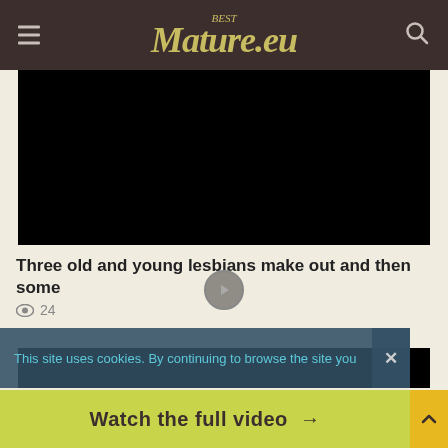BestMature.eu
[Figure (screenshot): Black video thumbnail placeholder]
Three old and young lesbians make out and then some
24 views
[Figure (screenshot): Black video thumbnail placeholder with play button overlay]
This site uses cookies. By continuing to browse the site you
Watch the full video →